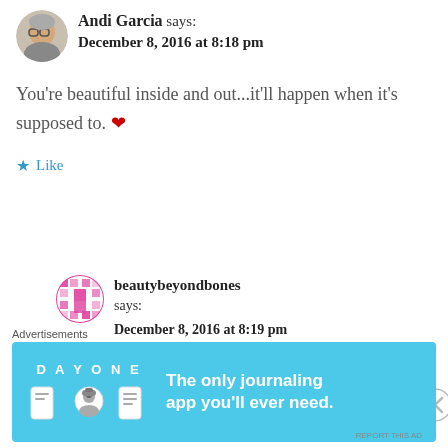[Figure (photo): Profile avatar of Andi Garcia, a woman with glasses and gray hair]
Andi Garcia says: December 8, 2016 at 8:18 pm
You're beautiful inside and out...it'll happen when it's supposed to. ❤
★ Like
[Figure (logo): beautybeyondbones pixel/mosaic style avatar icon in pink]
beautybeyondbones says: December 8, 2016 at 8:19 pm
❤❤❤thanks again x
Advertisements
[Figure (screenshot): DayOne journaling app advertisement banner with blue background showing DAY ONE logo and text 'The only journaling app you'll ever need.']